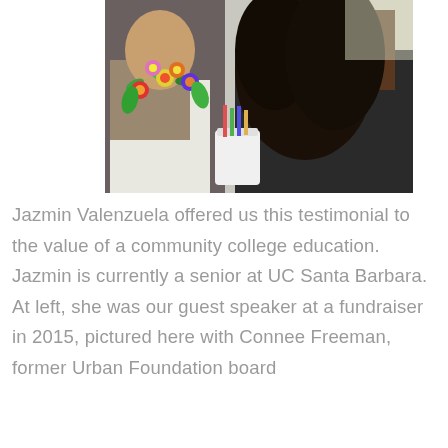[Figure (photo): Two people hugging at an outdoor fundraiser event. The person on the left is wearing a colorful floral lei and holding a cup. The person on the right has long curly dark hair and is wearing a dark jacket.]
Jazmin Valenzuela offered us this testimonial to the value of a community college education. Jazmin is currently a senior at UC Santa Barbara. At left, she was our guest speaker at a fundraiser in 2015, pictured here with Connee Freeman, former Urban Foundation board